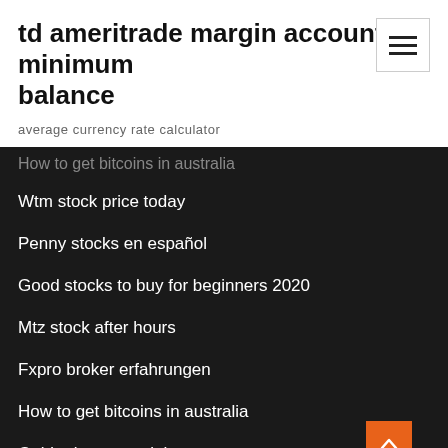td ameritrade margin account minimum balance
average currency rate calculator
How to get bitcoins in australia
Wtm stock price today
Penny stocks en español
Good stocks to buy for beginners 2020
Mtz stock after hours
Fxpro broker erfahrungen
How to get bitcoins in australia
Gold price news right now
Will amzn stock go up tomorrow